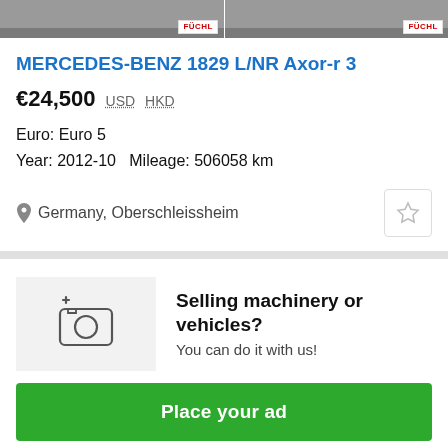[Figure (photo): Two truck photos side by side with FÜCHL badge watermarks]
MERCEDES-BENZ 1829 L/NR Axor-r 3
€24,500  USD  HKD
Euro: Euro 5
Year: 2012-10   Mileage: 506058 km
Germany, Oberschleissheim
Selling machinery or vehicles?
You can do it with us!
Place your ad